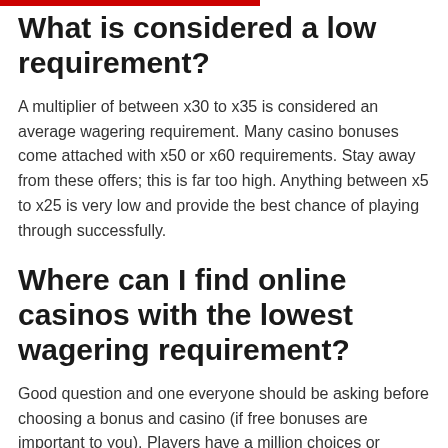What is considered a low requirement?
A multiplier of between x30 to x35 is considered an average wagering requirement. Many casino bonuses come attached with x50 or x60 requirements. Stay away from these offers; this is far too high. Anything between x5 to x25 is very low and provide the best chance of playing through successfully.
Where can I find online casinos with the lowest wagering requirement?
Good question and one everyone should be asking before choosing a bonus and casino (if free bonuses are important to you). Players have a million choices or